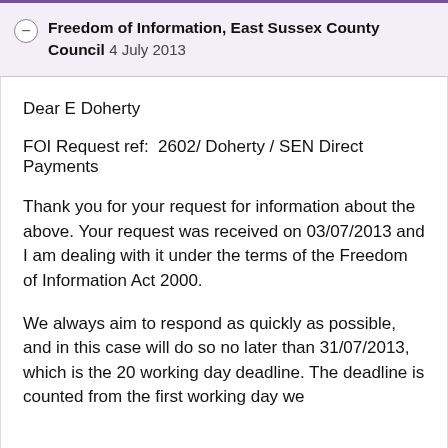Freedom of Information, East Sussex County Council 4 July 2013
Dear E Doherty
FOI Request ref:  2602/ Doherty / SEN Direct Payments
Thank you for your request for information about the above. Your request was received on 03/07/2013 and I am dealing with it under the terms of the Freedom of Information Act 2000.
We always aim to respond as quickly as possible, and in this case will do so no later than 31/07/2013, which is the 20 working day deadline. The deadline is counted from the first working day we